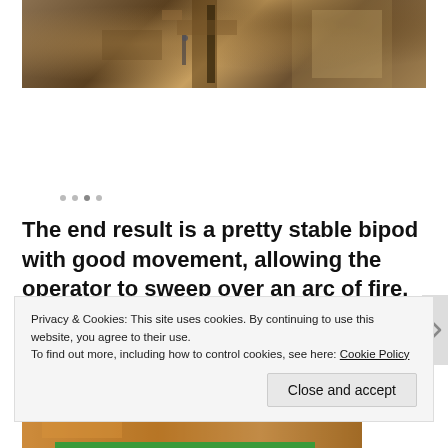[Figure (photo): Close-up photograph of woodworking machinery with wooden pieces clamped, showing metal fittings and wood grain, sawdust visible]
The end result is a pretty stable bipod with good movement, allowing the operator to sweep over an arc of fire.
[Figure (photo): Partial photograph showing orange/brown colored subject, partially obscured by cookie consent banner]
Privacy & Cookies: This site uses cookies. By continuing to use this website, you agree to their use.
To find out more, including how to control cookies, see here: Cookie Policy
Close and accept